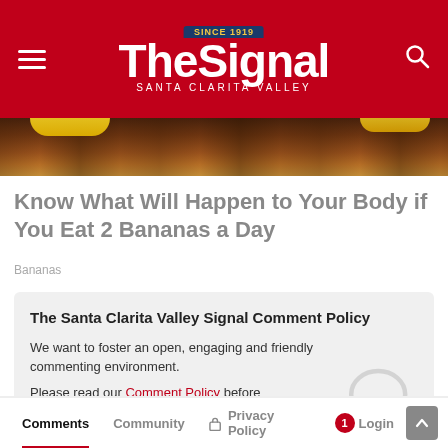The Signal — Santa Clarita Valley
[Figure (photo): Partial image of bananas on a wooden surface, cropped to show only the top edge of the photo]
Know What Will Happen to Your Body if You Eat 2 Bananas a Day
Bananas
The Santa Clarita Valley Signal Comment Policy
We want to foster an open, engaging and friendly commenting environment.
Please read our Comment Policy before commenting.
Comments | Community | Privacy Policy | Login